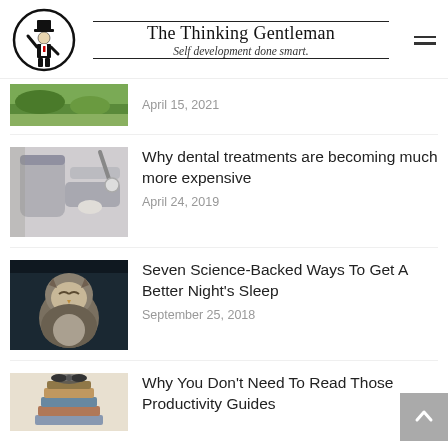[Figure (logo): The Thinking Gentleman logo: circle with gentleman tipping top hat]
The Thinking Gentleman
Self development done smart.
April 15, 2021
[Figure (photo): Dental chair and equipment, gray tones]
Why dental treatments are becoming much more expensive
April 24, 2019
[Figure (photo): Close-up photo of an owl with eyes closed]
Seven Science-Backed Ways To Get A Better Night’s Sleep
September 25, 2018
[Figure (photo): Stack of books with a bow on top]
Why You Don’t Need To Read Those Productivity Guides